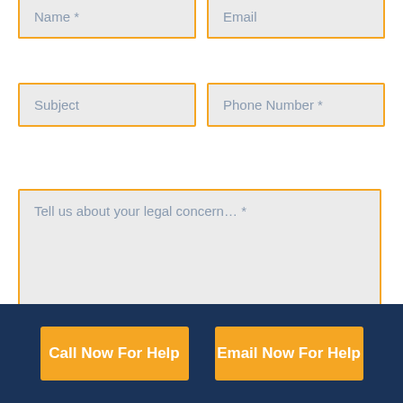Name *
Email
Subject
Phone Number *
Tell us about your legal concern... *
Call Now For Help
Email Now For Help